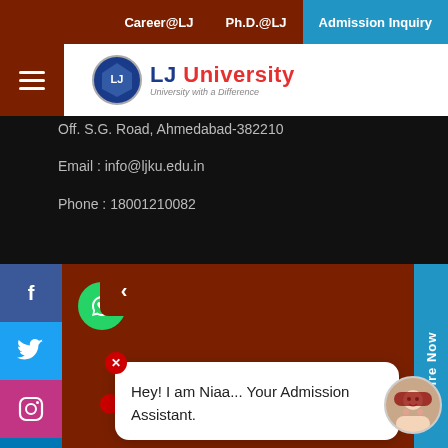Career@LJ   Ph.D.@LJ   Admission Inquiry
[Figure (logo): LJ University logo with shield emblem and tagline 'University with a Difference']
Off. S.G. Road, Ahmedabad-382210
Email : info@ljku.edu.in
Phone : 18001210082
NIRF
Hey! I am Niaa... Your Admission Assistant.